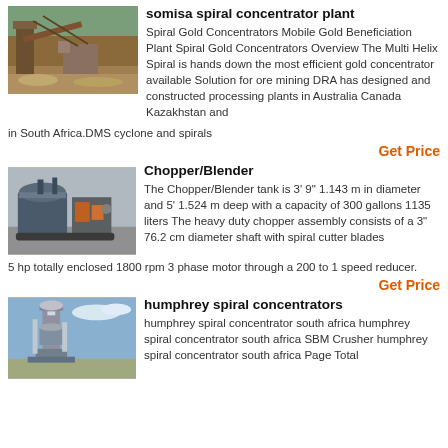[Figure (photo): Industrial mining/processing plant with machinery and conveyors, outdoor setting with trees in background.]
somisa spiral concentrator plant
Spiral Gold Concentrators Mobile Gold Beneficiation Plant Spiral Gold Concentrators Overview The Multi Helix Spiral is hands down the most efficient gold concentrator available Solution for ore mining DRA has designed and constructed processing plants in Australia Canada Kazakhstan and in South Africa.DMS cyclone and spirals
Get Price
[Figure (photo): Industrial crushing/processing equipment with large machinery components, outdoor setting.]
Chopper/Blender
The Chopper/Blender tank is 3' 9" 1.143 m in diameter and 5' 1.524 m deep with a capacity of 300 gallons 1135 liters The heavy duty chopper assembly consists of a 3" 76.2 cm diameter shaft with spiral cutter blades 5 hp totally enclosed 1800 rpm 3 phase motor through a 200 to 1 speed reducer.
Get Price
[Figure (photo): Tall industrial processing tower/concentrator structure against blue sky.]
humphrey spiral concentrators
humphrey spiral concentrator south africa humphrey spiral concentrator south africa SBM Crusher humphrey spiral concentrator south africa Page Total